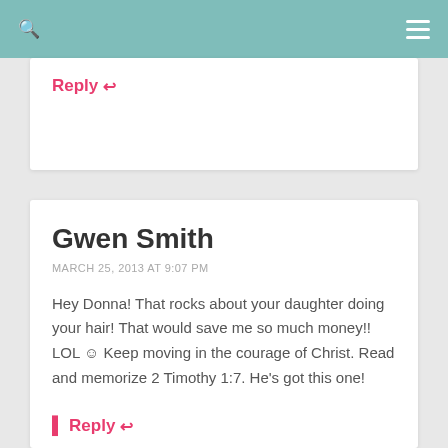Reply ↩
Gwen Smith
MARCH 25, 2013 AT 9:07 PM
Hey Donna! That rocks about your daughter doing your hair! That would save me so much money!! LOL 🙂 Keep moving in the courage of Christ. Read and memorize 2 Timothy 1:7. He's got this one!
Reply ↩